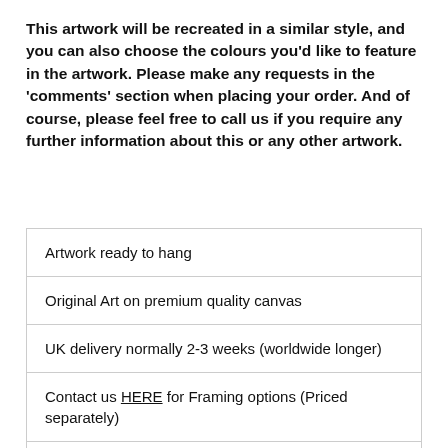This artwork will be recreated in a similar style, and you can also choose the colours you'd like to feature in the artwork. Please make any requests in the 'comments' section when placing your order. And of course, please feel free to call us if you require any further information about this or any other artwork.
Artwork ready to hang
Original Art on premium quality canvas
UK delivery normally 2-3 weeks (worldwide longer)
Contact us HERE for Framing options (Priced separately)
Installation available